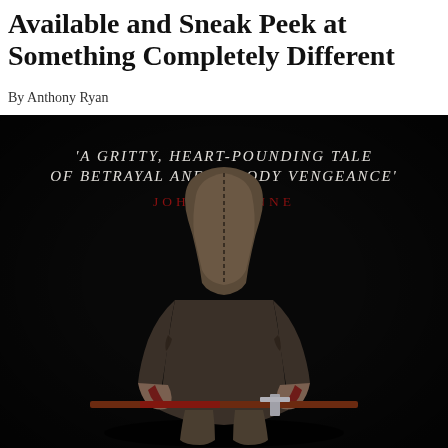Available and Sneak Peek at Something Completely Different
By Anthony Ryan
[Figure (photo): Book cover image showing a hooded figure in dark medieval clothing, seated and hunched over, holding a blood-stained weapon/staff. White text reads: 'A GRITTY, HEART-POUNDING TALE OF BETRAYAL AND BLOODY VENGEANCE' with 'JOHN GWYNNE' in red below. Dark/black background.]